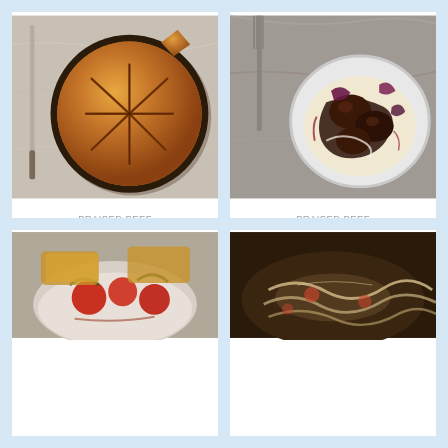[Figure (photo): Top-down view of a golden-brown braised beef cheek pie in a round pan with decorative pastry cuts, with a knife beside it on a marble surface]
BRAISED BEEF CHEEK AND GREEN PEPPERCORN PIES
[Figure (photo): Top-down view of braised beef cheeks on a white plate with creamy polenta, purple garnishes and sauce, with a fork on a stone surface]
BRAISED BEEF CHEEKS WITH CREAMY POLENTA
[Figure (photo): Bowl of braised dish with tomatoes and herbs visible, partially shown at bottom left]
[Figure (photo): Braised dish in a pan with pasta or similar, partially shown at bottom right]